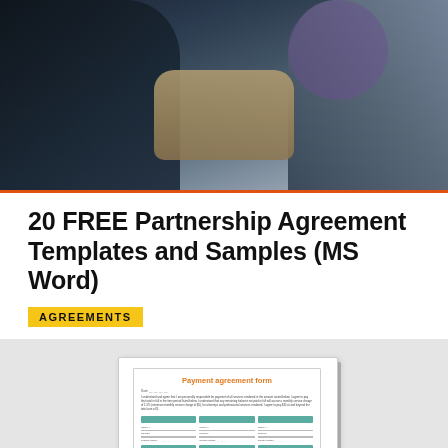[Figure (photo): Two people in business attire shaking hands, photographed indoors with blurred background]
20 FREE Partnership Agreement Templates and Samples (MS Word)
AGREEMENTS
[Figure (screenshot): Preview of a Payment agreement form document with teal/green colored fields and orange title text]